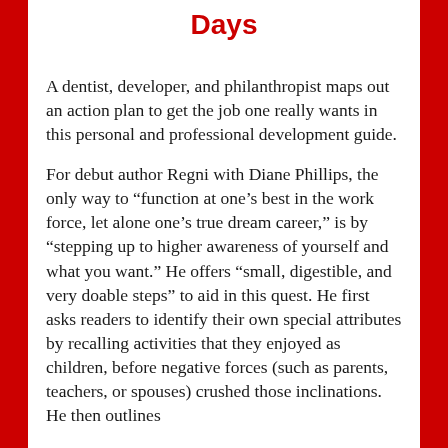Days
A dentist, developer, and philanthropist maps out an action plan to get the job one really wants in this personal and professional development guide.
For debut author Regni with Diane Phillips, the only way to “function at one’s best in the work force, let alone one’s true dream career,” is by “stepping up to higher awareness of yourself and what you want.” He offers “small, digestible, and very doable steps” to aid in this quest. He first asks readers to identify their own special attributes by recalling activities that they enjoyed as children, before negative forces (such as parents, teachers, or spouses) crushed those inclinations. He then outlines